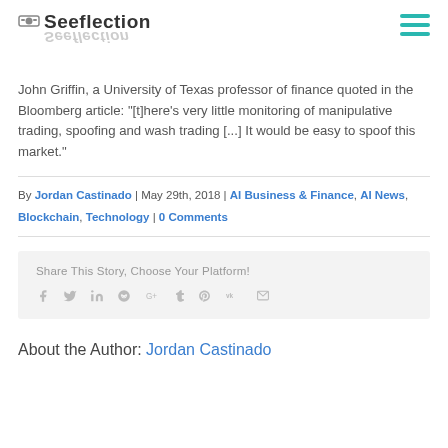Seeflection
John Griffin, a University of Texas professor of finance quoted in the Bloomberg article: "[t]here's very little monitoring of manipulative trading, spoofing and wash trading [...] It would be easy to spoof this market."
By Jordan Castinado | May 29th, 2018 | AI Business & Finance, AI News, Blockchain, Technology | 0 Comments
Share This Story, Choose Your Platform!
About the Author: Jordan Castinado